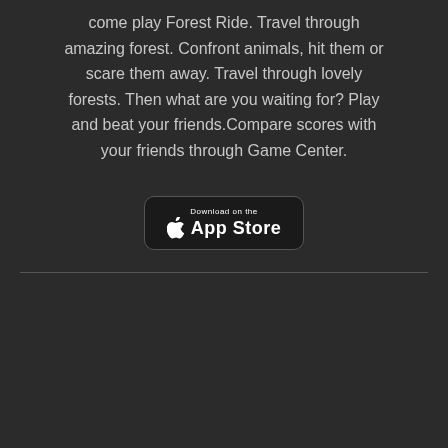come play Forest Ride. Travel through amazing forest. Confront animals, hit them or scare them away. Travel through lovely forests. Then what are you waiting for? Play and beat your friends.Compare scores with your friends through Game Center.
[Figure (other): Download on the App Store button with Apple logo]